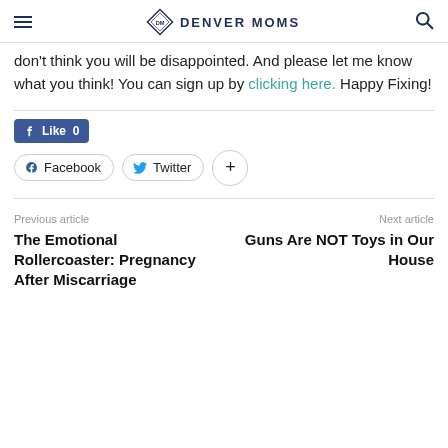Denver Moms
don't think you will be disappointed. And please let me know what you think! You can sign up by clicking here. Happy Fixing!
Like 0
Facebook  Twitter  +
Previous article
The Emotional Rollercoaster: Pregnancy After Miscarriage
Next article
Guns Are NOT Toys in Our House